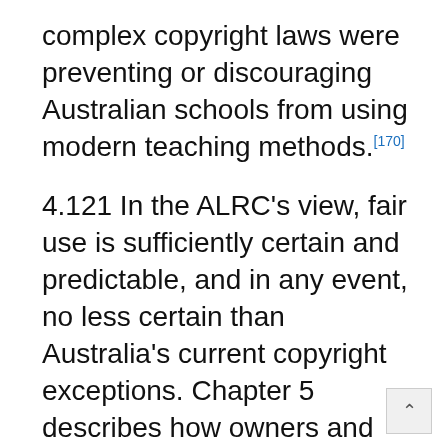complex copyright laws were preventing or discouraging Australian schools from using modern teaching methods.[170]
4.121 In the ALRC's view, fair use is sufficiently certain and predictable, and in any event, no less certain than Australia's current copyright exceptions. Chapter 5 describes how owners and users of copyright material will be guided by the fairness factors, the list of illustrative purposes, existing Australian case law, other relevant jurisdictions'